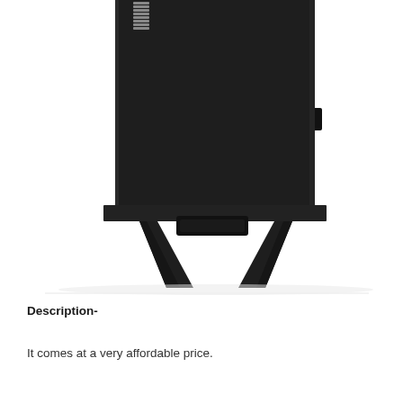[Figure (photo): Close-up photo of the bottom half of a black electric smoker, showing the lower body, legs/stand, and a drip tray. The smoker is dark matte black with angled metal legs and a small rectangular ash/drip pan at the base.]
Description-
It comes at a very affordable price.